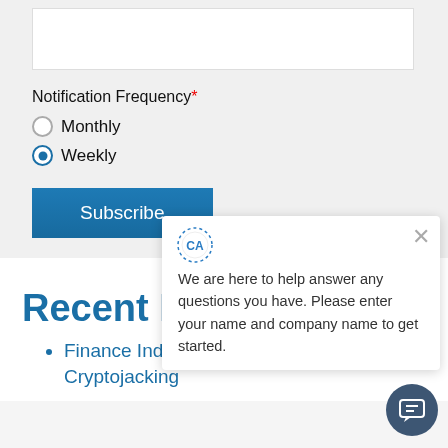Notification Frequency*
Monthly
Weekly
Subscribe
Recent Posts
Finance Industry victims of Cryptojacking
[Figure (screenshot): Chat popup widget with CA avatar, close button, and message: We are here to help answer any questions you have. Please enter your name and company name to get started.]